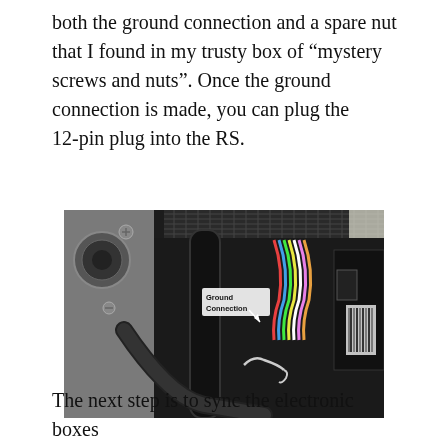both the ground connection and a spare nut that I found in my trusty box of “mystery screws and nuts”. Once the ground connection is made, you can plug the 12-pin plug into the RS.
[Figure (photo): Photograph of car interior under dashboard showing wiring, cables, and a label reading 'Ground Connection' with an arrow pointing to a connector area.]
The next step is to sync the electronic boxes